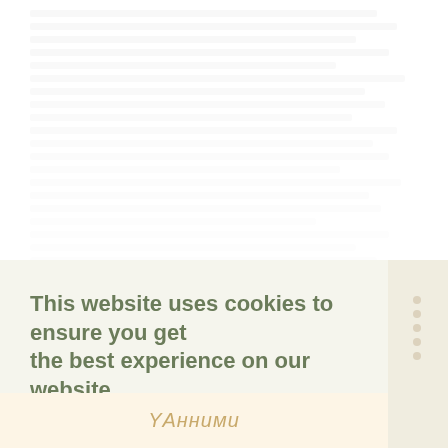[Faded/watermarked body text content - multiple lines of light gray text representing a web page article]
This website uses cookies to ensure you get the best experience on our website. Find Out More
YAнними